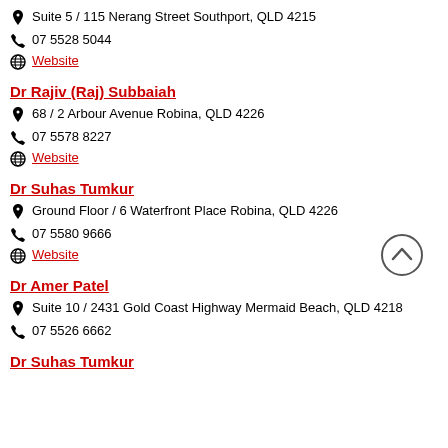Suite 5 / 115 Nerang Street Southport, QLD 4215
07 5528 5044
Website
Dr Rajiv (Raj) Subbaiah
68 / 2 Arbour Avenue Robina, QLD 4226
07 5578 8227
Website
Dr Suhas Tumkur
Ground Floor / 6 Waterfront Place Robina, QLD 4226
07 5580 9666
Website
Dr Amer Patel
Suite 10 / 2431 Gold Coast Highway Mermaid Beach, QLD 4218
07 5526 6662
Dr Suhas Tumkur